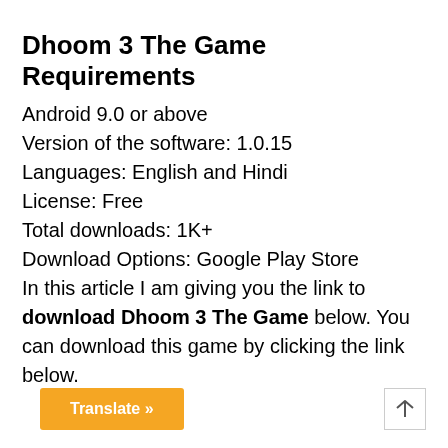Dhoom 3 The Game Requirements
Android 9.0 or above
Version of the software: 1.0.15
Languages: English and Hindi
License: Free
Total downloads: 1K+
Download Options: Google Play Store
In this article I am giving you the link to download Dhoom 3 The Game below. You can download this game by clicking the link below.